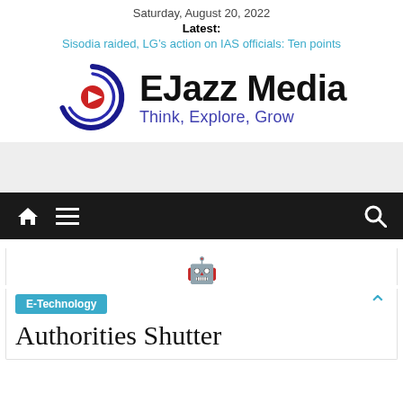Saturday, August 20, 2022
Latest:
Sisodia raided, LG’s action on IAS officials: Ten points
[Figure (logo): EJazz Media logo with circular arrow icon and tagline 'Think, Explore, Grow']
[Figure (other): Advertisement banner (gray background)]
[Figure (other): Navigation bar with home, menu, and search icons on dark background]
[Figure (other): Robot/mascot emoji icon]
E-Technology
Authorities Shutter